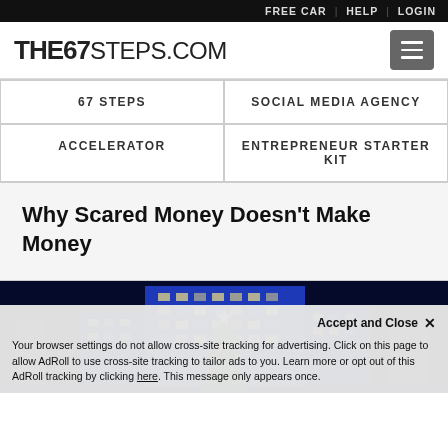FREE CAR | HELP | LOGIN
THE67STEPS.COM
67 STEPS | SOCIAL MEDIA AGENCY | ACCELERATOR | ENTREPRENEUR STARTER KIT
Why Scared Money Doesn't Make Money
[Figure (photo): Night-time photo of a tall building lit in blue with a Christmas tree in front featuring a bright star topper, surrounded by a dark urban skyline]
Accept and Close ✕
Your browser settings do not allow cross-site tracking for advertising. Click on this page to allow AdRoll to use cross-site tracking to tailor ads to you. Learn more or opt out of this AdRoll tracking by clicking here. This message only appears once.